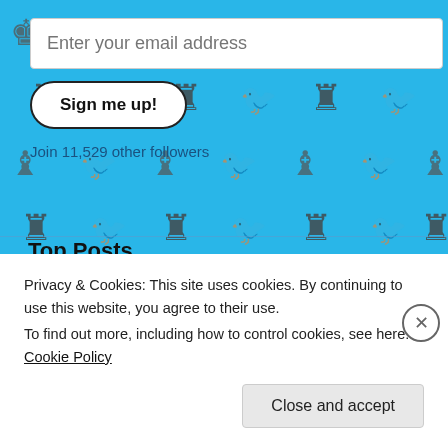[Figure (screenshot): Blue background with repeating chess pieces (rooks, bishops, kings) and pigeon/bird illustrations tiled pattern]
Enter your email address
Sign me up!
Join 11,529 other followers
Top Posts
"Gill slæ" by any other name...
Expelled Q & A at Biola University
Open Page for Creationist Questions
Privacy & Cookies: This site uses cookies. By continuing to use this website, you agree to their use.
To find out more, including how to control cookies, see here: Cookie Policy
Close and accept